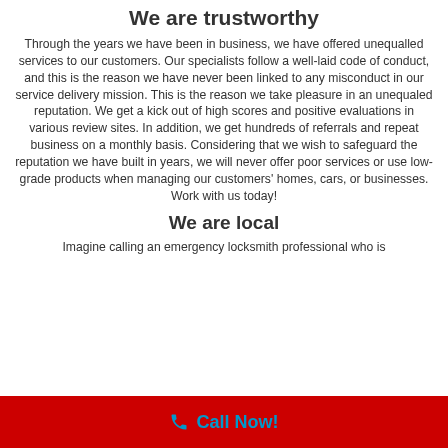We are trustworthy
Through the years we have been in business, we have offered unequalled services to our customers. Our specialists follow a well-laid code of conduct, and this is the reason we have never been linked to any misconduct in our service delivery mission. This is the reason we take pleasure in an unequaled reputation. We get a kick out of high scores and positive evaluations in various review sites. In addition, we get hundreds of referrals and repeat business on a monthly basis. Considering that we wish to safeguard the reputation we have built in years, we will never offer poor services or use low-grade products when managing our customers' homes, cars, or businesses. Work with us today!
We are local
Imagine calling an emergency locksmith professional who is
Call Now!